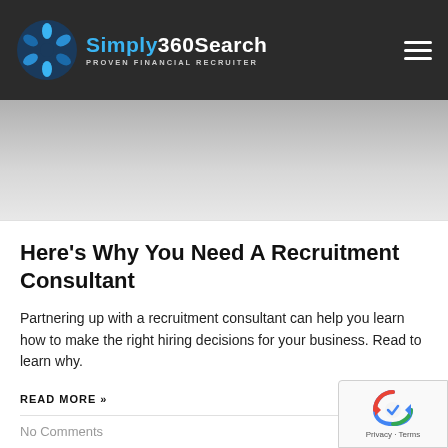Simply360Search — PROVEN FINANCIAL RECRUITER
[Figure (photo): Gray gradient hero banner image area]
Here's Why You Need A Recruitment Consultant
Partnering up with a recruitment consultant can help you learn how to make the right hiring decisions for your business. Read to learn why.
READ MORE »
No Comments